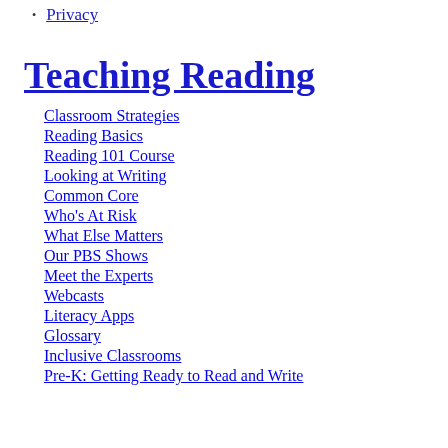Privacy
Teaching Reading
Classroom Strategies
Reading Basics
Reading 101 Course
Looking at Writing
Common Core
Who's At Risk
What Else Matters
Our PBS Shows
Meet the Experts
Webcasts
Literacy Apps
Glossary
Inclusive Classrooms
Pre-K: Getting Ready to Read and Write